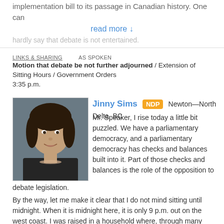implementation bill to its passage in Canadian history. One can
read more ↓
hardly say that debate is not entertained.
LINKS & SHARING    AS SPOKEN
Motion that debate be not further adjourned / Extension of Sitting Hours / Government Orders
3:35 p.m.
[Figure (photo): Headshot photo of Jinny Sims, a woman with dark hair wearing a black jacket and necklace, against a dark background.]
Jinny Sims  NDP  Newton—North Delta, BC
Mr. Speaker, I rise today a little bit puzzled. We have a parliamentary democracy, and a parliamentary democracy has checks and balances built into it. Part of those checks and balances is the role of the opposition to debate legislation.
By the way, let me make it clear that I do not mind sitting until midnight. When it is midnight here, it is only 9 p.m. out on the west coast. I was raised in a household where, through many functions, we had to be up three or four nights and days in a row anyway, so that does not bother me at all.